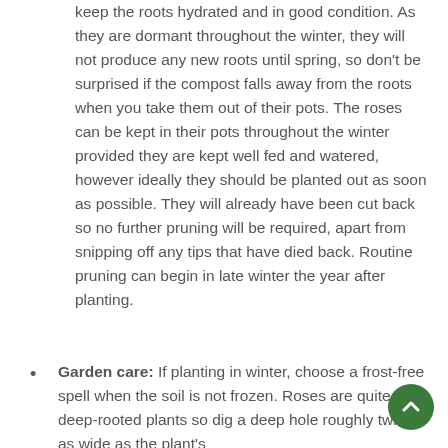keep the roots hydrated and in good condition. As they are dormant throughout the winter, they will not produce any new roots until spring, so don't be surprised if the compost falls away from the roots when you take them out of their pots. The roses can be kept in their pots throughout the winter provided they are kept well fed and watered, however ideally they should be planted out as soon as possible. They will already have been cut back so no further pruning will be required, apart from snipping off any tips that have died back. Routine pruning can begin in late winter the year after planting.
Garden care: If planting in winter, choose a frost-free spell when the soil is not frozen. Roses are quite deep-rooted plants so dig a deep hole roughly twice as wide as the plant's